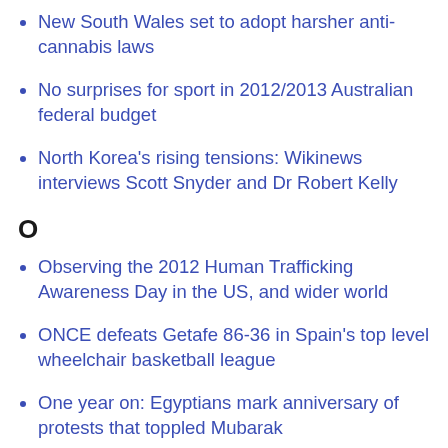New South Wales set to adopt harsher anti-cannabis laws
No surprises for sport in 2012/2013 Australian federal budget
North Korea's rising tensions: Wikinews interviews Scott Snyder and Dr Robert Kelly
O
Observing the 2012 Human Trafficking Awareness Day in the US, and wider world
ONCE defeats Getafe 86-36 in Spain's top level wheelchair basketball league
One year on: Egyptians mark anniversary of protests that toppled Mubarak
One year on: IFALPA's representative to ICAO, pilot and